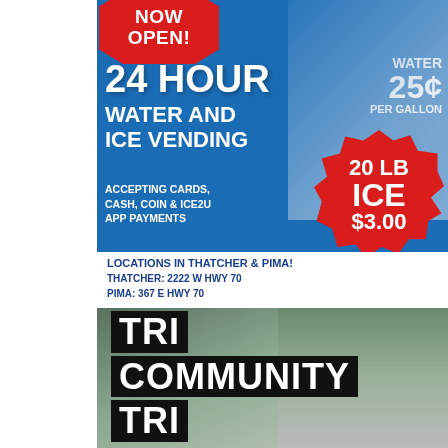[Figure (illustration): Advertisement for Twice the Ice 24-hour water and ice vending machines. Blue background with red starburst 'NOW OPEN!'. Text: '24 HOUR WATER AND ICE VENDING', 'ACCEPTING CARDS, CASH, COIN & ICE2U APP PAYMENTS', 'WATER 25¢ PER GALLON', '20 LB ICE $3.00'. Photo of vending machines. Locations in Thatcher & Pima. Thatcher: 2222 W HWY 70, Pima: 367 E HWY 70.]
[Figure (photo): Photo of a person with arms raised in celebration, with overlaid black text blocks reading 'TRI COMMUNITY TRI'. Background shows outdoor road/athletic setting.]